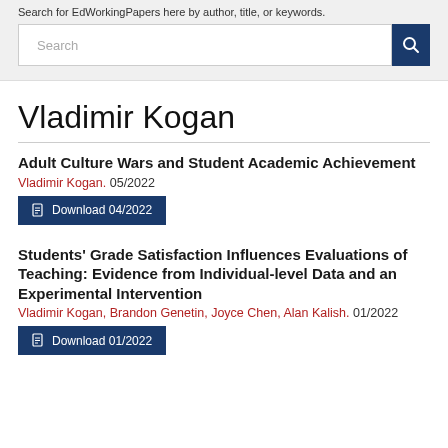Search for EdWorkingPapers here by author, title, or keywords.
Vladimir Kogan
Adult Culture Wars and Student Academic Achievement
Vladimir Kogan. 05/2022
Download 04/2022
Students' Grade Satisfaction Influences Evaluations of Teaching: Evidence from Individual-level Data and an Experimental Intervention
Vladimir Kogan, Brandon Genetin, Joyce Chen, Alan Kalish. 01/2022
Download 01/2022